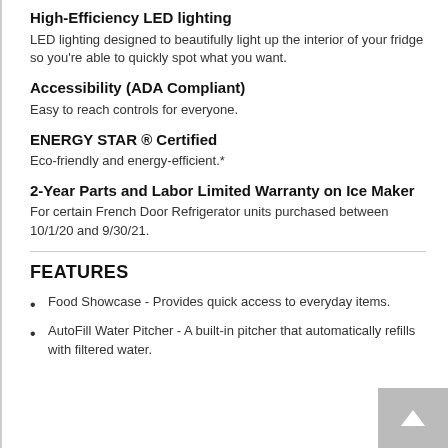High-Efficiency LED lighting
LED lighting designed to beautifully light up the interior of your fridge so you're able to quickly spot what you want.
Accessibility (ADA Compliant)
Easy to reach controls for everyone.
ENERGY STAR ® Certified
Eco-friendly and energy-efficient.*
2-Year Parts and Labor Limited Warranty on Ice Maker
For certain French Door Refrigerator units purchased between 10/1/20 and 9/30/21.
FEATURES
Food Showcase - Provides quick access to everyday items.
AutoFill Water Pitcher - A built-in pitcher that automatically refills with filtered water.